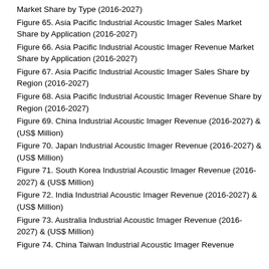Market Share by Type (2016-2027)
Figure 65. Asia Pacific Industrial Acoustic Imager Sales Market Share by Application (2016-2027)
Figure 66. Asia Pacific Industrial Acoustic Imager Revenue Market Share by Application (2016-2027)
Figure 67. Asia Pacific Industrial Acoustic Imager Sales Share by Region (2016-2027)
Figure 68. Asia Pacific Industrial Acoustic Imager Revenue Share by Region (2016-2027)
Figure 69. China Industrial Acoustic Imager Revenue (2016-2027) & (US$ Million)
Figure 70. Japan Industrial Acoustic Imager Revenue (2016-2027) & (US$ Million)
Figure 71. South Korea Industrial Acoustic Imager Revenue (2016-2027) & (US$ Million)
Figure 72. India Industrial Acoustic Imager Revenue (2016-2027) & (US$ Million)
Figure 73. Australia Industrial Acoustic Imager Revenue (2016-2027) & (US$ Million)
Figure 74. China Taiwan Industrial Acoustic Imager Revenue